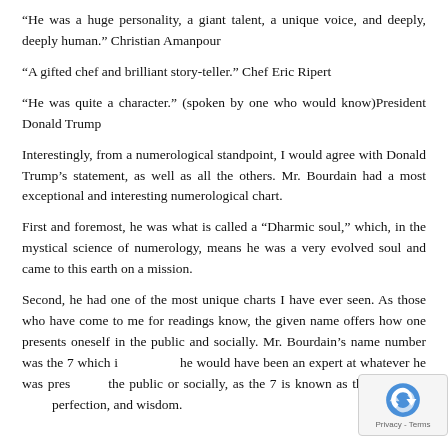“He was a huge personality, a giant talent, a unique voice, and deeply, deeply human.” Christian Amanpour
“A gifted chef and brilliant story-teller.” Chef Eric Ripert
“He was quite a character.” (spoken by one who would know)President Donald Trump
Interestingly, from a numerological standpoint, I would agree with Donald Trump’s statement, as well as all the others. Mr. Bourdain had a most exceptional and interesting numerological chart.
First and foremost, he was what is called a “Dharmic soul,” which, in the mystical science of numerology, means he was a very evolved soul and came to this earth on a mission.
Second, he had one of the most unique charts I have ever seen. As those who have come to me for readings know, the given name offers how one presents oneself in the public and socially. Mr. Bourdain’s name number was the 7 which indicates he would have been an expert at whatever he was presenting to the public or socially, as the 7 is known as the number of perfection, and wisdom.